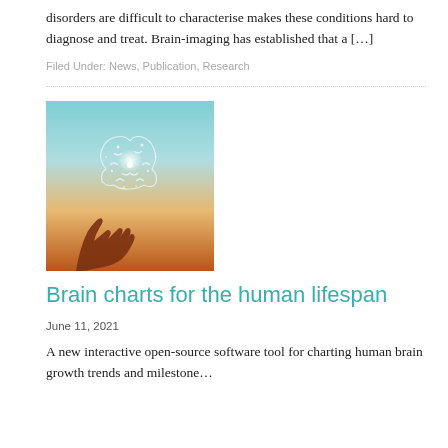disorders are difficult to characterise makes these conditions hard to diagnose and treat. Brain-imaging has established that a […]
Filed Under: News, Publication, Research
[Figure (photo): Photo of hands reaching upward toward a glowing brain illustration, symbolizing neuroscience and mind.]
Brain charts for the human lifespan
June 11, 2021
A new interactive open-source software tool for charting human brain growth trends and milestone…